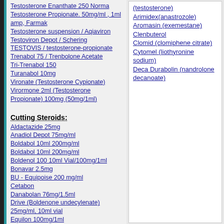Testosterone Enanthate 250 Norma
Testosterone Propionate. 50mg/ml , 1ml amp, Farmak
Testosterone suspension / Aqiaviron
Testoviron Depot / Schering
TESTOVIS / testosterone-propionate
Trenabol 75 / Trenbolone Acetate
Tri-Trenabol 150
Turanabol 10mg
Vironate (Testosterone Cypionate)
Virormone 2ml (Testosterone Propionate) 100mg (50mg/1ml)
Cutting Steroids:
Aldactazide 25mg
Anadiol Depot 75mg/ml
Boldabol 10ml 200mg/ml
Boldabol 10ml 200mg/ml
Boldenol 100 10ml Vial/100mg/1ml
Bonavar 2.5mg
BU - Equipoise 200 mg/ml
Cetabon
Danabolan 76mg/1.5ml
Drive (Boldenone undecylenate) 25mg/ml, 10ml vial
Equilon 100mg/1ml
Equipoise 50mg/1ml
ILIUM Stanabolic 50mg/ml 20ml
Lasix 40mg
Mastabol 100 / 100mg/ml
Mastabol Depot 200 / 200 mg/ml
Masteron 100 / 100mg/1ml
Parabolan / trenbolone acetate, 25mg
Primohol 50mg
(testosterone)
Arimidex(anastrozole)
Aromasin (exemestane)
Clenbuterol
Clomid (clomiphene citrate)
Cytomel (liothyronine sodium)
Deca Durabolin (nandrolone decanoate)